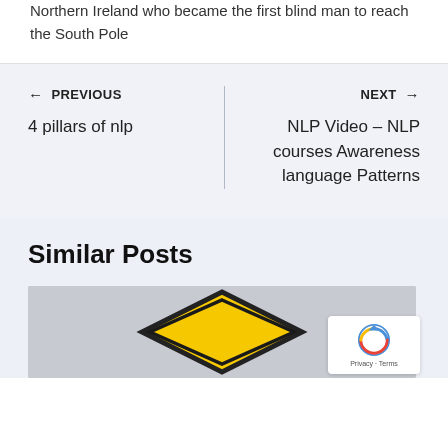Northern Ireland who became the first blind man to reach the South Pole
← PREVIOUS
4 pillars of nlp
NEXT →
NLP Video – NLP courses Awareness language Patterns
Similar Posts
[Figure (photo): Yellow diamond-shaped warning road sign on grey background]